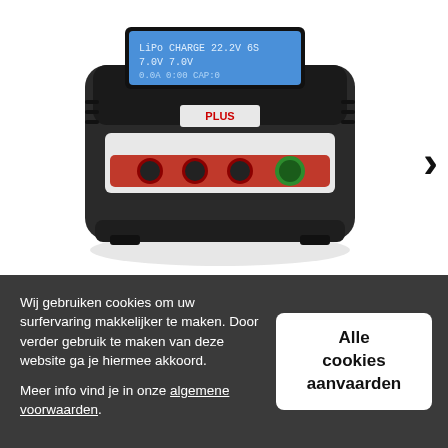[Figure (photo): A black electronic battery charger device with a blue LCD display showing LiPo charge settings, red and green control buttons on the front panel. The device appears to be an RC battery charger labeled PLUS.]
>
Wij gebruiken cookies om uw surfervaring makkelijker te maken. Door verder gebruik te maken van deze website ga je hiermee akkoord.
Meer info vind je in onze algemene voorwaarden.
Alle cookies aanvaarden